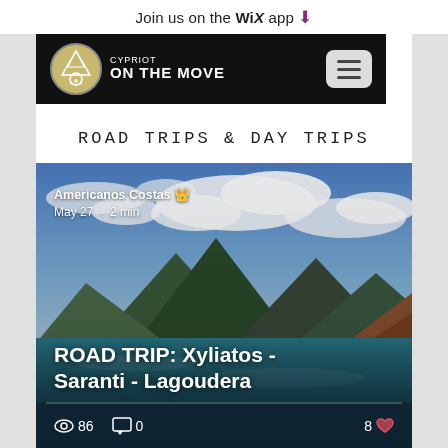Join us on the WiX app ⬇
[Figure (screenshot): Navigation bar with Cypriot On The Move logo on black background and hamburger menu button]
ROAD TRIPS & DAY TRIPS
[Figure (photo): Blog post card showing a scenic photo of Xyliatos reservoir with mountains and clouds. Author: Americanos Costas, May 27 · 2 min. Title: ROAD TRIP: Xyliatos - Saranti - Lagoudera. Stats: 86 views, 0 comments, 8 likes.]
Americanos Costas 👑
May 27 · 2 min
ROAD TRIP: Xyliatos - Saranti - Lagoudera
👁 86   💬 0   8 ♥